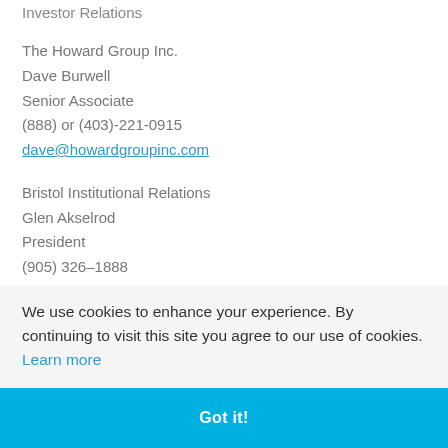Investor Relations
The Howard Group Inc.
Dave Burwell
Senior Associate
(888) or (403)-221-0915
dave@howardgroupinc.com
Bristol Institutional Relations
Glen Akselrod
President
(905) 326–1888
We use cookies to enhance your experience. By continuing to visit this site you agree to our use of cookies. Learn more
Got it!